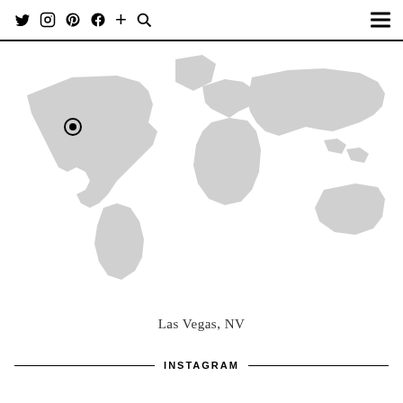Social icons: Twitter, Instagram, Pinterest, Facebook, Plus, Search; Hamburger menu
[Figure (map): Grayscale world map with a location pin marker over the western United States (Las Vegas, NV area)]
Las Vegas, NV
INSTAGRAM